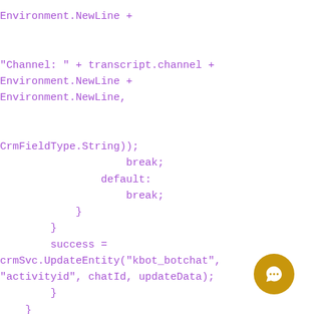Environment.NewLine +


"Channel: " + transcript.channel +
Environment.NewLine +
Environment.NewLine,


CrmFieldType.String));
                    break;
                default:
                    break;
            }
        }
        success =
crmSvc.UpdateEntity("kbot_botchat",
"activityid", chatId, updateData);
        }
    }